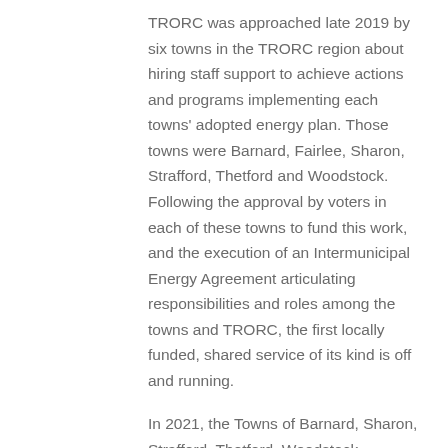TRORC was approached late 2019 by six towns in the TRORC region about hiring staff support to achieve actions and programs implementing each towns' adopted energy plan. Those towns were Barnard, Fairlee, Sharon, Strafford, Thetford and Woodstock. Following the approval by voters in each of these towns to fund this work, and the execution of an Intermunicipal Energy Agreement articulating responsibilities and roles among the towns and TRORC, the first locally funded, shared service of its kind is off and running.
In 2021, the Towns of Barnard, Sharon, Strafford, Thetford, Woodstock, Norwich, and Bradford are the seven towns that make up the IREC program.
Tasks and programs focused will be driven by a Steering Committee from the seven towns and will include the priorities of each town. Energy efficiency, greenhouse gas emission reduction and